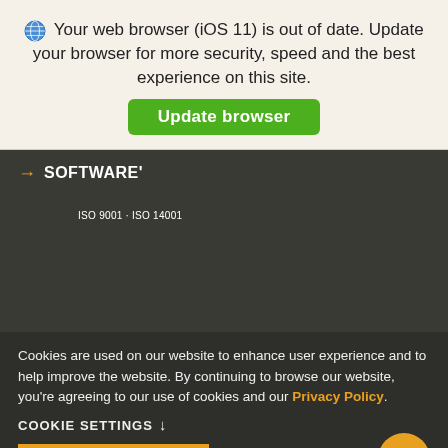🌐 Your web browser (iOS 11) is out of date. Update your browser for more security, speed and the best experience on this site.
Update browser
→ SOFTWARE'
ISO 9001 · ISO 14001
Cookies are used on our website to enhance user experience and to help improve the website. By continuing to browse our website, you're agreeing to our use of cookies and our Privacy Policy.
COOKIE SETTINGS ↓
ACCEPT